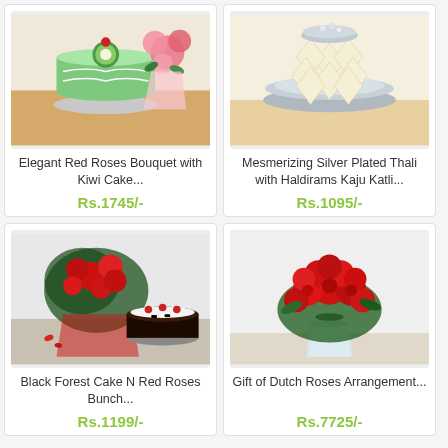[Figure (photo): Elegant Red Roses Bouquet with Kiwi Cake product photo - green kiwi cake with cherry on top and pink roses bouquet]
Elegant Red Roses Bouquet with Kiwi Cake...
Rs.1745/-
Earliest Delivery : Today
Add to Cart
[Figure (photo): Mesmerizing Silver Plated Thali with Haldirams Kaju Katli product photo - silver thali with diamond-shaped kaju katli sweets]
Mesmerizing Silver Plated Thali with Haldirams Kaju Katli...
Rs.1095/-
Earliest Delivery : 1-Sep
Add to Cart
[Figure (photo): Black Forest Cake N Red Roses Bunch product photo - red roses bunch with black forest cake]
Black Forest Cake N Red Roses Bunch...
Rs.1199/-
[Figure (photo): Gift of Dutch Roses Arrangement product photo - large arrangement of red roses in a glass vase]
Gift of Dutch Roses Arrangement...
Rs.7725/-